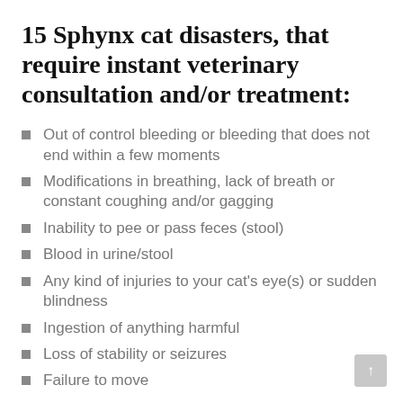15 Sphynx cat disasters, that require instant veterinary consultation and/or treatment:
Out of control bleeding or bleeding that does not end within a few moments
Modifications in breathing, lack of breath or constant coughing and/or gagging
Inability to pee or pass feces (stool)
Blood in urine/stool
Any kind of injuries to your cat's eye(s) or sudden blindness
Ingestion of anything harmful
Loss of stability or seizures
Failure to move